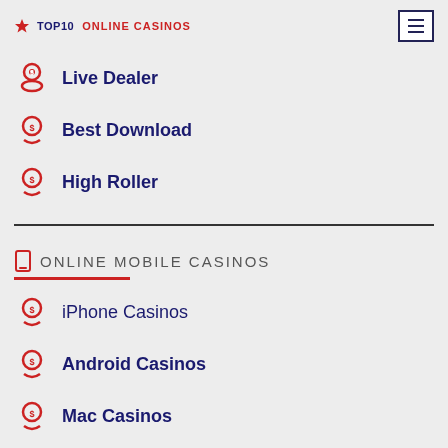TOP10 ONLINE CASINOS
Live Dealer
Best Download
High Roller
ONLINE MOBILE CASINOS
iPhone Casinos
Android Casinos
Mac Casinos